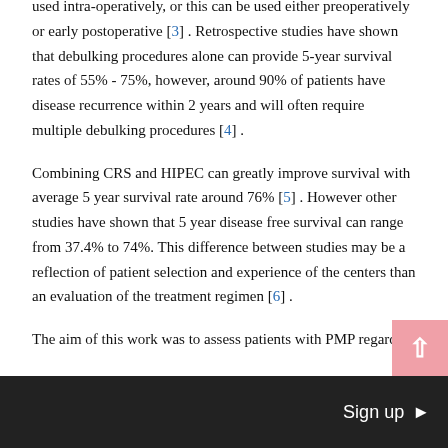used intra-operatively, or this can be used either preoperatively or early postoperative [3] . Retrospective studies have shown that debulking procedures alone can provide 5-year survival rates of 55% - 75%, however, around 90% of patients have disease recurrence within 2 years and will often require multiple debulking procedures [4] .
Combining CRS and HIPEC can greatly improve survival with average 5 year survival rate around 76% [5] . However other studies have shown that 5 year disease free survival can range from 37.4% to 74%. This difference between studies may be a reflection of patient selection and experience of the centers than an evaluation of the treatment regimen [6] .
The aim of this work was to assess patients with PMP regarding
Sign up